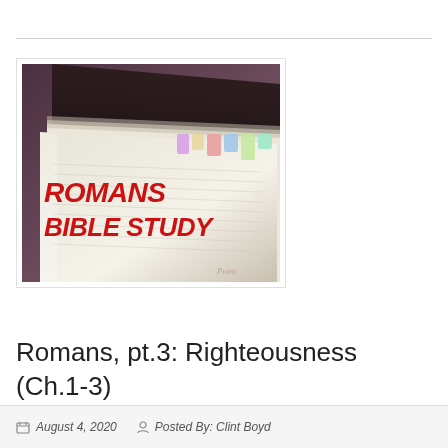[Figure (illustration): Romans Bible Study book cover image showing an open Bible with colorful bookmark tabs and bold red italic text reading ROMANS BIBLE STUDY overlaid on the image]
Romans, pt.3: Righteousness (Ch.1-3)
August 4, 2020   Posted By: Clint Boyd